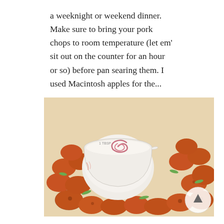a weeknight or weekend dinner. Make sure to bring your pork chops to room temperature (let em' sit out on the counter for an hour or so) before pan searing them. I used Macintosh apples for the...
[Figure (photo): Photo of orange/red breaded chicken nuggets or bites arranged on a white surface around a small white ceramic bowl containing a creamy white dip with a pink/red swirl. Green onion slices are scattered on top of the nuggets. A circular scroll-to-top button with an upward arrow appears in the lower right corner.]